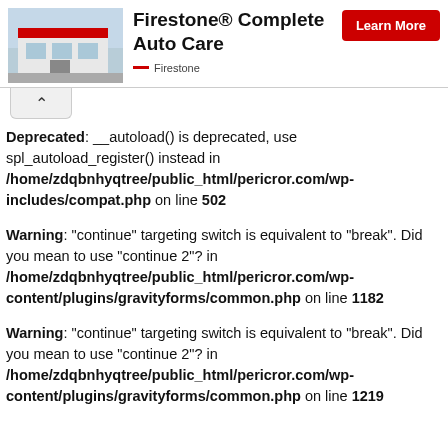[Figure (advertisement): Firestone Complete Auto Care advertisement banner with store photo, brand name, title, and Learn More button]
Deprecated: __autoload() is deprecated, use spl_autoload_register() instead in /home/zdqbnhyqtree/public_html/pericror.com/wp-includes/compat.php on line 502
Warning: "continue" targeting switch is equivalent to "break". Did you mean to use "continue 2"? in /home/zdqbnhyqtree/public_html/pericror.com/wp-content/plugins/gravityforms/common.php on line 1182
Warning: "continue" targeting switch is equivalent to "break". Did you mean to use "continue 2"? in /home/zdqbnhyqtree/public_html/pericror.com/wp-content/plugins/gravityforms/common.php on line 1219